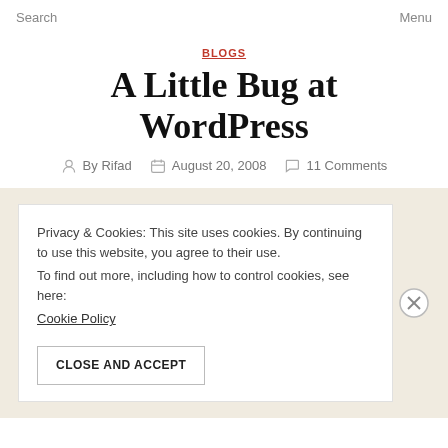Search    Menu
BLOGS
A Little Bug at WordPress
By Rifad    August 20, 2008    11 Comments
Privacy & Cookies: This site uses cookies. By continuing to use this website, you agree to their use.
To find out more, including how to control cookies, see here:
Cookie Policy
CLOSE AND ACCEPT